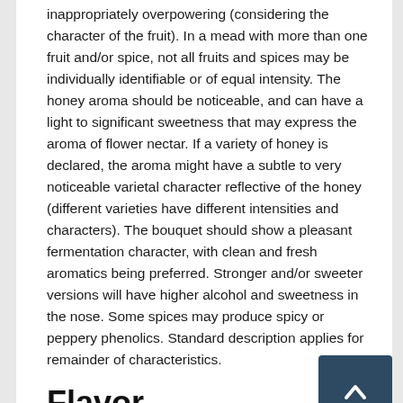inappropriately overpowering (considering the character of the fruit). In a mead with more than one fruit and/or spice, not all fruits and spices may be individually identifiable or of equal intensity. The honey aroma should be noticeable, and can have a light to significant sweetness that may express the aroma of flower nectar. If a variety of honey is declared, the aroma might have a subtle to very noticeable varietal character reflective of the honey (different varieties have different intensities and characters). The bouquet should show a pleasant fermentation character, with clean and fresh aromatics being preferred. Stronger and/or sweeter versions will have higher alcohol and sweetness in the nose. Some spices may produce spicy or peppery phenolics. Standard description applies for remainder of characteristics.
Flavor
The spice flavor intensity may vary from subtle to